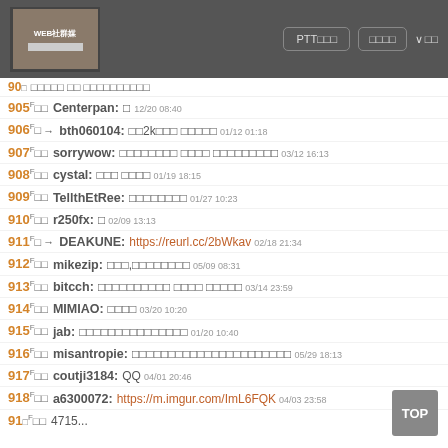PTT□□□ □□□□
905 F□□ Centerpan: □ 12/20 08:40
906 F□ → bth060104: □□2k□□ □□□□□ 01/12 01:18
907 F□□ sorrywow: □□□□□□□ □□□□ □□□□□□□□□ 03/12 16:13
908 F□□ cystal: □□□ □□□□ 01/19 18:15
909 F□□ TellthEtRee: □□□□□□□□ 01/27 10:23
910 F□□ r250fx: □ 02/09 13:13
911 F□ → DEAKUNE: https://reurl.cc/2bWkav 02/18 21:34
912 F□□ mikezip: □□□,□□□□□□□□ 05/09 08:31
913 F□□ bitcch: □□□□□□□□□□ □□□□ □□□□□ 03/14 23:59
914 F□□ MIMIAO: □□□□ 03/20 10:20
915 F□□ jab: □□□□□□□□□□□□□□□ 01/20 10:40
916 F□□ misantropie: □□□□□□□□□□□□□□□□□□□□□□ 05/29 18:13
917 F□□ coutji3184: QQ 04/01 20:46
918 F□□ a6300072: https://m.imgur.com/ImL6FQK 04/03 23:58